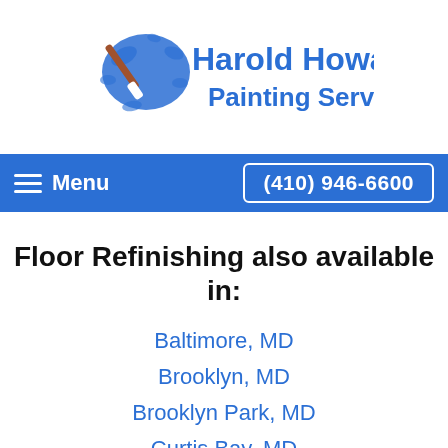[Figure (logo): Harold Howard's Painting Service logo with paint brush and blue ink splash]
Menu  (410) 946-6600
Floor Refinishing also available in:
Baltimore, MD
Brooklyn, MD
Brooklyn Park, MD
Curtis Bay, MD
Dundalk, MD
Edgemere, MD
Glen Burnie, MD